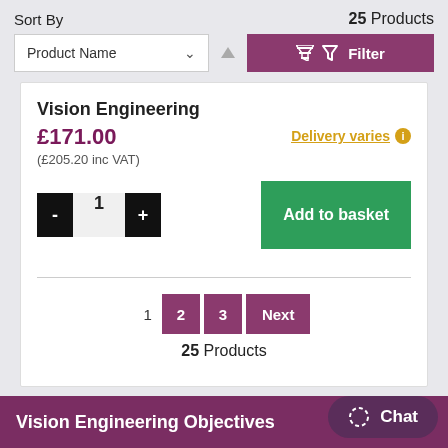Sort By
25 Products
Product Name
Filter
Vision Engineering
£171.00
(£205.20 inc VAT)
Delivery varies
1
Add to basket
1  2  3  Next
25 Products
Vision Engineering Objectives
Chat